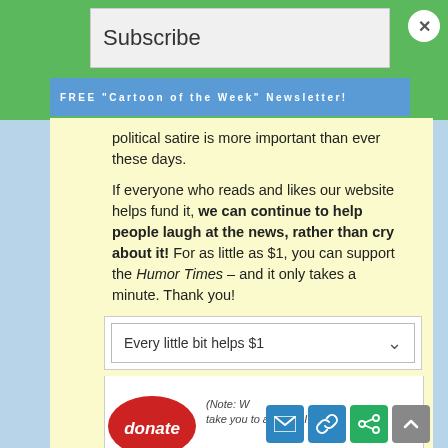Subscribe
FREE "Cartoon of the Week" Newsletter!
political satire is more important than ever these days.

If everyone who reads and likes our website helps fund it, we can continue to help people laugh at the news, rather than cry about it! For as little as $1, you can support the Humor Times – and it only takes a minute. Thank you!
[Figure (screenshot): Dropdown selector showing 'Every little bit helps $1']
[Figure (screenshot): Donate button (red oval) and note about PayPal page, plus social sharing icons (email, link, share) and scroll-to-top button]